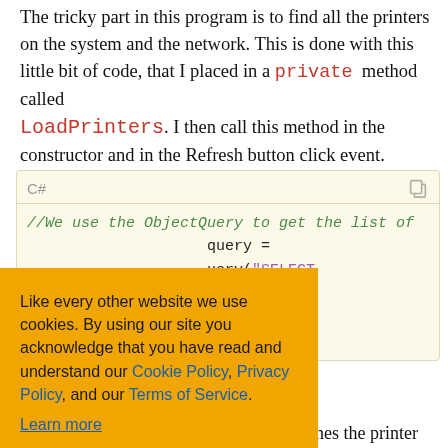The tricky part in this program is to find all the printers on the system and the network. This is done with this little bit of code, that I placed in a private method called LoadPrinters. I then call this method in the constructor and in the Refresh button click event.
[Figure (screenshot): C# code block with orange cookie consent banner overlay. Code shows ObjectQuery usage with ManagementObjectSearcher and ManagementObjectCollection. Cookie banner reads: 'Like every other website we use cookies. By using our site you acknowledge that you have read and understand our Cookie Policy, Privacy Policy, and our Terms of Service. Learn more' with buttons: Ask me later, Decline, Allow cookies.]
What this little snippet does is that it fetches the printer